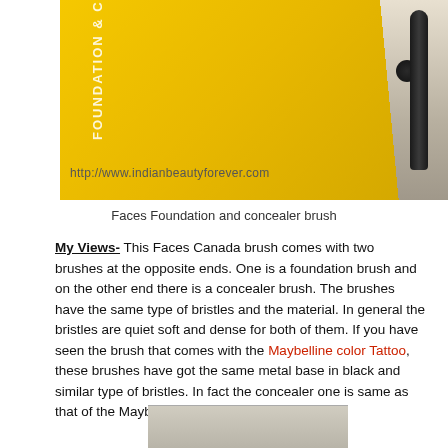[Figure (photo): Product photo of Faces Foundation and concealer brush in yellow packaging, shown upside-down with watermark http://www.indianbeautyforever.com]
Faces Foundation and concealer brush
My Views- This Faces Canada brush comes with two brushes at the opposite ends. One is a foundation brush and on the other end there is a concealer brush. The brushes have the same type of bristles and the material. In general the bristles are quiet soft and dense for both of them. If you have seen the brush that comes with the Maybelline color Tattoo, these brushes have got the same metal base in black and similar type of bristles. In fact the concealer one is same as that of the Maybelline one in size too.
[Figure (photo): Partial view of another brush product photo at the bottom of the page]